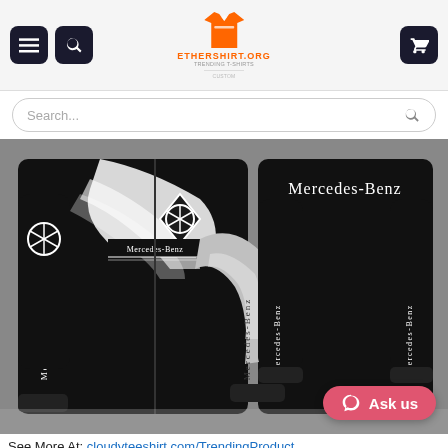ETHERSHIRT.ORG
Search...
[Figure (photo): Product photo showing a black and white Mercedes-Benz zip-up jacket/hoodie — front view on left, back view on right. The jacket features the Mercedes-Benz logo and text, with white curved graphic on the sleeves and chest area. 'Mercedes-Benz' text visible on chest and down both sleeves.]
Ask us
See More At: cloudyteeshirt.com/TrendingProduct